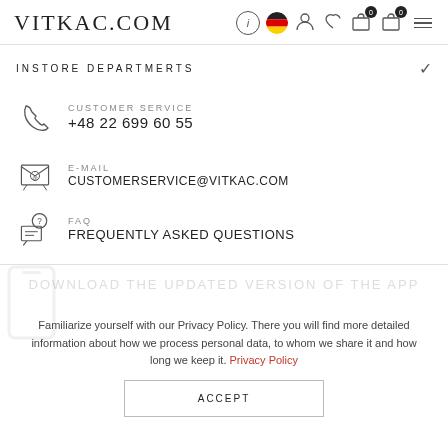VITKAC.COM
INSTORE DEPARTMERTS
CUSTOMER SERVICE +48 22 699 60 55
E-MAIL CUSTOMERSERVICE@VITKAC.COM
FAQ FREQUENTLY ASKED QUESTIONS
DOWNLOAD THE UPDATED VERSION OF THE APP
Familiarize yourself with our Privacy Policy. There you will find more detailed information about how we process personal data, to whom we share it and how long we keep it. Privacy Policy
ACCEPT